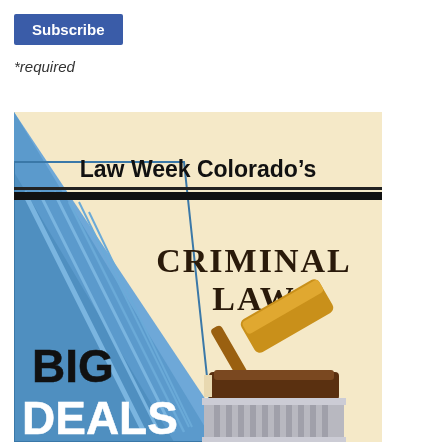Subscribe
*required
[Figure (illustration): Law Week Colorado's Criminal Law Big Deals promotional graphic. Beige and blue diagonal split background. Left side shows a blue book/gavel illustration. Right side shows 'Law Week Colorado's' text at top, thick black divider line, then 'CRIMINAL LAW' in bold serif text with a golden gavel resting on a dark book on top of a white column/pillar. Bottom left shows 'BIG DEALS' in large bold white text on the blue background.]